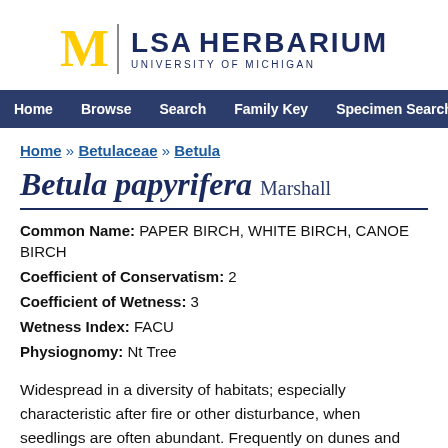[Figure (logo): University of Michigan LSA Herbarium logo with yellow M, vertical divider, and LSA HERBARIUM UNIVERSITY OF MICHIGAN text in navy]
Home   Browse   Search   Family Key   Specimen Search   Glossar
Home » Betulaceae » Betula
Betula papyrifera Marshall
Common Name: PAPER BIRCH, WHITE BIRCH, CANOE BIRCH
Coefficient of Conservatism: 2
Coefficient of Wetness: 3
Wetness Index: FACU
Physiognomy: Nt Tree
Widespread in a diversity of habitats; especially characteristic after fire or other disturbance, when seedlings are often abundant. Frequently on dunes and associated with aspen on upland sites, but also in swamps. Usually a relatively short-lived successional tree, growing in attractive clumps from stump sprouts that follow fire. Old trees may persist in the forest, as large